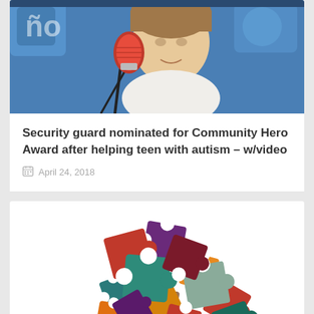[Figure (photo): Person speaking into a red microphone in a radio studio with blue background]
Security guard nominated for Community Hero Award after helping teen with autism – w/video
April 24, 2018
[Figure (illustration): Colorful puzzle pieces arranged in a pile with illustrated hands/roots at the bottom, representing autism awareness]